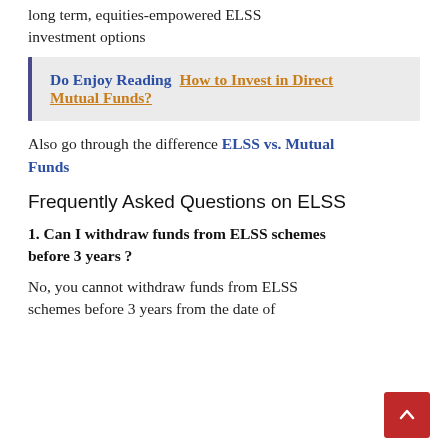long-term, equities-empowered ELSS investment options
Do Enjoy Reading  How to Invest in Direct Mutual Funds?
Also go through the difference ELSS vs. Mutual Funds
Frequently Asked Questions on ELSS
1. Can I withdraw funds from ELSS schemes before 3 years ?
No, you cannot withdraw funds from ELSS schemes before 3 years from the date of